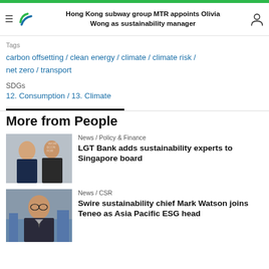Hong Kong subway group MTR appoints Olivia Wong as sustainability manager
Tags
carbon offsetting / clean energy / climate / climate risk / net zero / transport
SDGs
12. Consumption / 13. Climate
More from People
News / Policy & Finance
LGT Bank adds sustainability experts to Singapore board
News / CSR
Swire sustainability chief Mark Watson joins Teneo as Asia Pacific ESG head